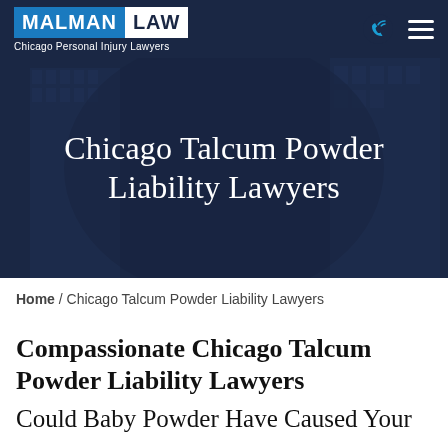MALMAN LAW — Chicago Personal Injury Lawyers
[Figure (illustration): Dark navy hero banner with faint citybuilding background, containing the white serif title 'Chicago Talcum Powder Liability Lawyers']
Chicago Talcum Powder Liability Lawyers
Home / Chicago Talcum Powder Liability Lawyers
Compassionate Chicago Talcum Powder Liability Lawyers
Could Baby Powder Have Caused Your